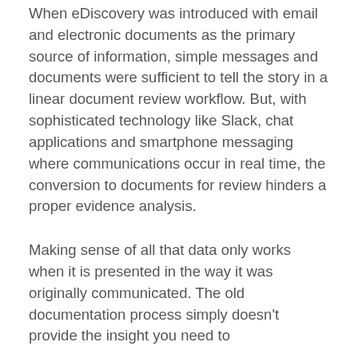When eDiscovery was introduced with email and electronic documents as the primary source of information, simple messages and documents were sufficient to tell the story in a linear document review workflow. But, with sophisticated technology like Slack, chat applications and smartphone messaging where communications occur in real time, the conversion to documents for review hinders a proper evidence analysis.
Making sense of all that data only works when it is presented in the way it was originally communicated. The old documentation process simply doesn't provide the insight you need to